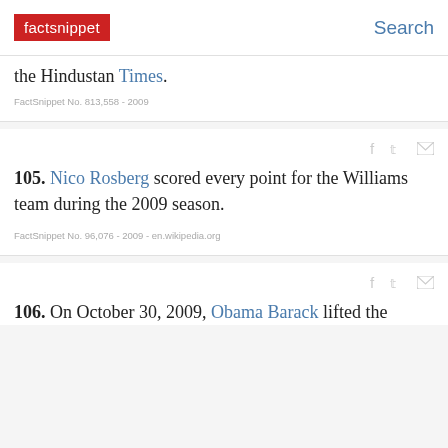factsnippet | Search
the Hindustan Times.
FactSnippet No. 813,558 - 2009
105. Nico Rosberg scored every point for the Williams team during the 2009 season.
FactSnippet No. 96,076 - 2009 - en.wikipedia.org
106. On October 30, 2009, Obama Barack lifted the